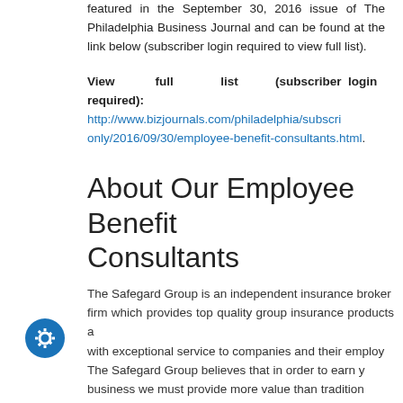featured in the September 30, 2016 issue of The Philadelphia Business Journal and can be found at the link below (subscriber login required to view full list).
View full list (subscriber login required): http://www.bizjournals.com/philadelphia/subscriber-only/2016/09/30/employee-benefit-consultants.html.
About Our Employee Benefit Consultants
The Safegard Group is an independent insurance brokerage firm which provides top quality group insurance products and with exceptional service to companies and their employees. The Safegard Group believes that in order to earn your business we must provide more value than traditionally offered. Our Employee Benefits Division recognizes that employees are the most valuable asset of a successful business and protecting their overall well-being is of paramount importance for an organization to prosper.